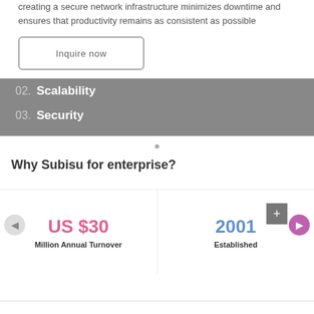creating a secure network infrastructure minimizes downtime and ensures that productivity remains as consistent as possible
Inquire now
02. Scalability
03. Security
Why Subisu for enterprise?
US $30
Million Annual Turnover
2001
Established